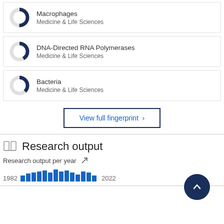[Figure (donut-chart): Donut chart showing Macrophages concept, partially filled in dark blue]
Macrophages
Medicine & Life Sciences
[Figure (donut-chart): Donut chart showing DNA-Directed RNA Polymerases concept, partially filled in dark blue]
DNA-Directed RNA Polymerases
Medicine & Life Sciences
[Figure (donut-chart): Donut chart showing Bacteria concept, partially filled in dark blue]
Bacteria
Medicine & Life Sciences
View full fingerprint ›
Research output
Research output per year
[Figure (bar-chart): Bar chart of research output per year from 1982 to 2022, bars in blue]